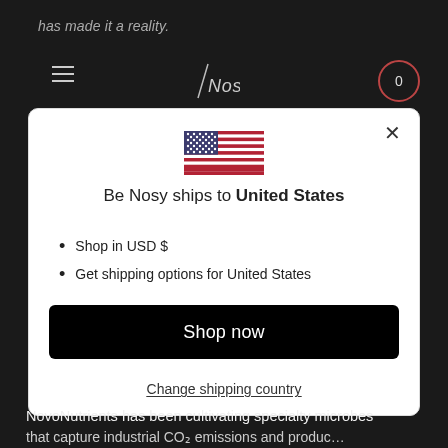has made it a reality.
[Figure (screenshot): Website navigation bar with hamburger menu, logo (Nosy), and cart icon showing 0]
[Figure (illustration): United States flag emoji/icon]
Be Nosy ships to United States
Shop in USD $
Get shipping options for United States
Shop now
Change shipping country
NovoNutrients has been cultivating specialty microbes that capture industrial CO2 emissions and produc…